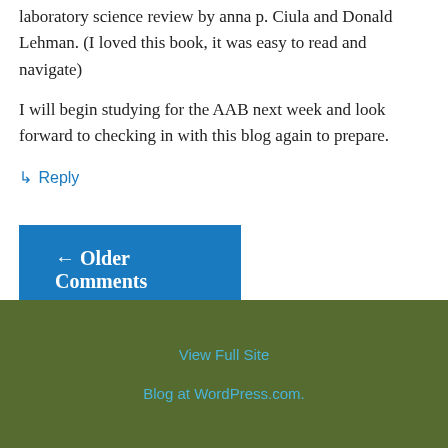laboratory science review by anna p. Ciula and Donald Lehman. (I loved this book, it was easy to read and navigate)
I will begin studying for the AAB next week and look forward to checking in with this blog again to prepare.
↳ Reply
← Older Comments
View Full Site
Blog at WordPress.com.